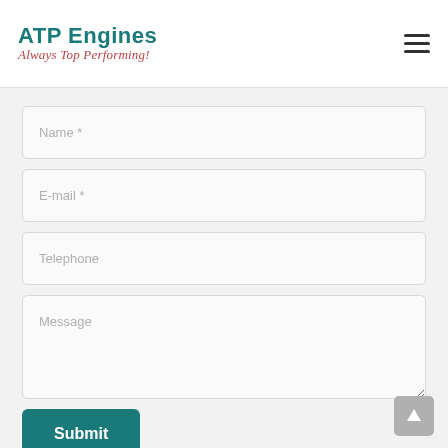[Figure (logo): ATP Engines logo with teal bold text 'ATP Engines' and italic red tagline 'Always Top Performing!']
Name *
E-mail *
Telephone
Message
Submit